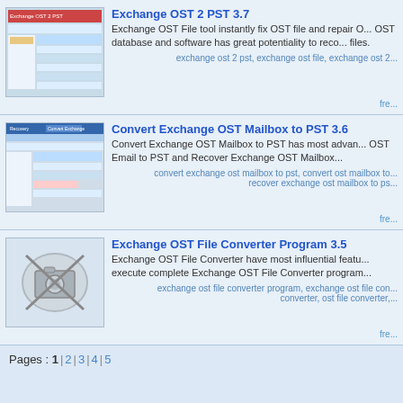[Figure (screenshot): Screenshot of Exchange OST 2 PST software interface]
Exchange OST 2 PST 3.7
Exchange OST File tool instantly fix OST file and repair OST database and software has great potentiality to recover files.
exchange ost 2 pst, exchange ost file, exchange ost 2...
fre...
[Figure (screenshot): Screenshot of Convert Exchange OST Mailbox to PST software interface]
Convert Exchange OST Mailbox to PST 3.6
Convert Exchange OST Mailbox to PST has most advanced... OST Email to PST and Recover Exchange OST Mailbox...
convert exchange ost mailbox to pst, convert ost mailbox to... recover exchange ost mailbox to ps...
fre...
[Figure (illustration): No photo placeholder icon]
Exchange OST File Converter Program 3.5
Exchange OST File Converter have most influential features execute complete Exchange OST File Converter program...
exchange ost file converter program, exchange ost file con... converter, ost file converter,...
fre...
Pages : 1 | 2 | 3 | 4 | 5